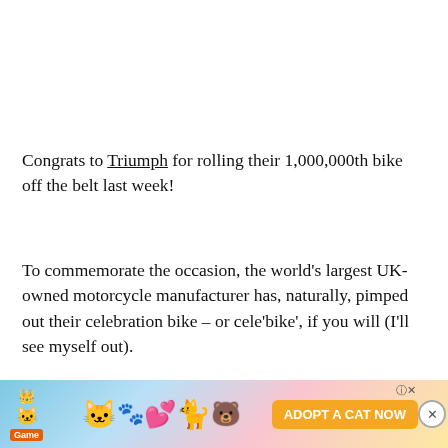Congrats to Triumph for rolling their 1,000,000th bike off the belt last week!
To commemorate the occasion, the world's largest UK-owned motorcycle manufacturer has, naturally, pimped out their celebration bike – or cele'bike', if you will (I'll see myself out).
What better choice of beastie for the millionth motorcycle (I'm assuming they plan the millionth) than the hi[gh...]
[Figure (other): Ad banner at bottom of page for a mobile game called 'Cat Game' showing cartoon cats and the text 'ADOPT A CAT NOW' with close buttons.]